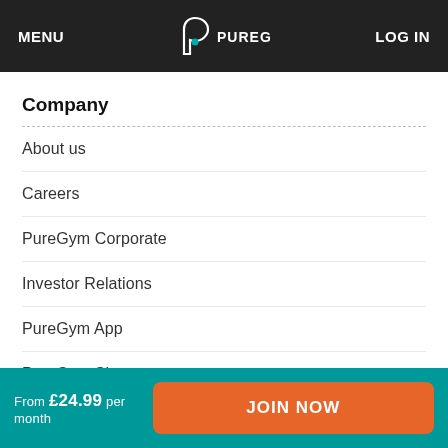MENU | PUREGYM | LOG IN
Company
About us
Careers
PureGym Corporate
Investor Relations
PureGym App
PureGym Shop
Statements
PureGym Switzerland
From £24.99 per month  JOIN NOW